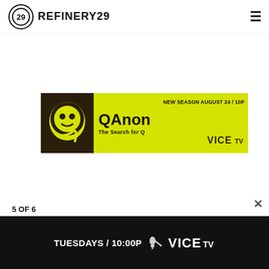REFINERY29
[Figure (infographic): QAnon: The Search for Q — VICE TV advertisement banner. Dark brown background with yellow accent. Features QAnon stylized icon on left, 'QAnon The Search for Q' text, 'NEW SEASON AUGUST 24 / 10P', and VICE TV logo.]
5 OF 6
[Figure (infographic): VICE TV advertisement banner. Black background with white text 'TUESDAYS / 10:00P' with microphone icon and VICE TV logo.]